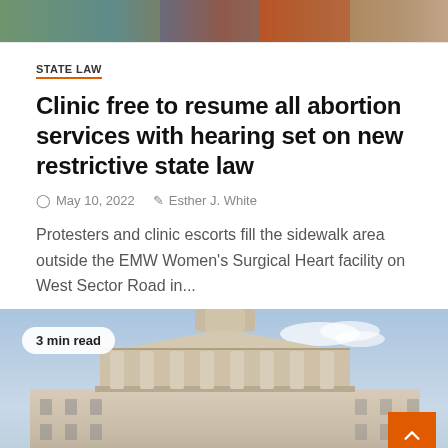[Figure (photo): Top banner photo showing protesters and clinic escorts on a sidewalk with colorful background]
STATE LAW
Clinic free to resume all abortion services with hearing set on new restrictive state law
May 10, 2022   Esther J. White
Protesters and clinic escorts fill the sidewalk area outside the EMW Women's Surgical Heart facility on West Sector Road in...
[Figure (photo): Photo of a government capitol building with columns, labeled '3 min read']